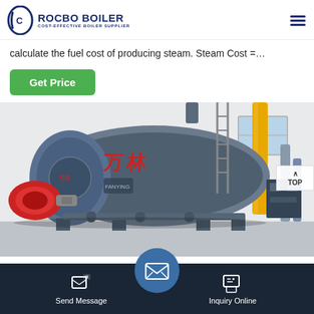[Figure (logo): Rocbo Boiler logo with circular C icon and tagline 'COST-EFFECTIVE BOILER SUPPLIER']
calculate the fuel cost of producing steam. Steam Cost =…
Get Price
[Figure (photo): Industrial gas-fired steam boiler in a boiler room with yellow gas pipe, red burner, and Chinese characters on the boiler body]
Send Message
Inquiry Online